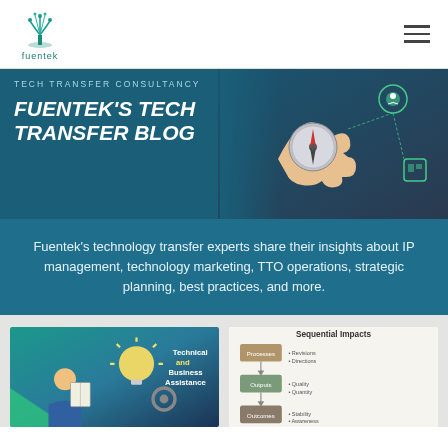fuentek
[Figure (infographic): Hero banner with dark teal background, hand holding compass on right side, category label TECH TRANSFER CONSULTANCY, and bold title FUENTEK'S TECH TRANSFER BLOG]
Fuentek's technology transfer experts share their insights about IP management, technology marketing, TTO operations, strategic planning, best practices, and more.
[Figure (illustration): Blog post card thumbnail showing technical and business assistance illustration with person, lightbulb, and gears]
[Figure (infographic): Blog post card thumbnail showing Sequential Impacts diagram with boxes and arrows]